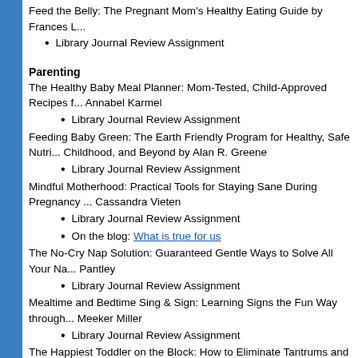Feed the Belly: The Pregnant Mom's Healthy Eating Guide by Frances L...
Library Journal Review Assignment
Parenting
The Healthy Baby Meal Planner: Mom-Tested, Child-Approved Recipes by Annabel Karmel
Library Journal Review Assignment
Feeding Baby Green: The Earth Friendly Program for Healthy, Safe Nutrition During Pregnancy, Childhood, and Beyond by Alan R. Greene
Library Journal Review Assignment
Mindful Motherhood: Practical Tools for Staying Sane During Pregnancy by Cassandra Vieten
Library Journal Review Assignment
On the blog: What is true for us
The No-Cry Nap Solution: Guaranteed Gentle Ways to Solve All Your Napping Problems by Pantley
Library Journal Review Assignment
Mealtime and Bedtime Sing & Sign: Learning Signs the Fun Way through Music, Play... by Meeker Miller
Library Journal Review Assignment
The Happiest Toddler on the Block: How to Eliminate Tantrums and Raise a Patient, Cooperative One- to Four-Year-Old: Revised Edition by Harvey Karp
Positive Discipline by Jane Nelsen
Baby Minds: Brain-Building Games Your Baby Will Love by...